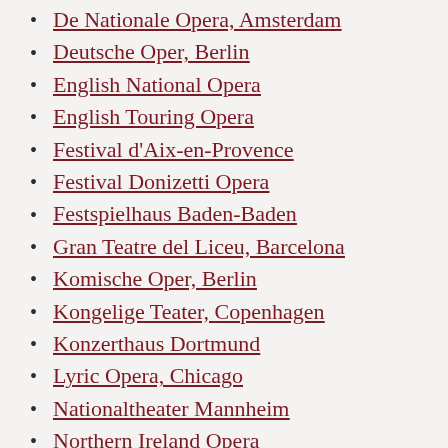De Nationale Opera, Amsterdam
Deutsche Oper, Berlin
English National Opera
English Touring Opera
Festival d'Aix-en-Provence
Festival Donizetti Opera
Festspielhaus Baden-Baden
Gran Teatre del Liceu, Barcelona
Komische Oper, Berlin
Kongelige Teater, Copenhagen
Konzerthaus Dortmund
Lyric Opera, Chicago
Nationaltheater Mannheim
Northern Ireland Opera